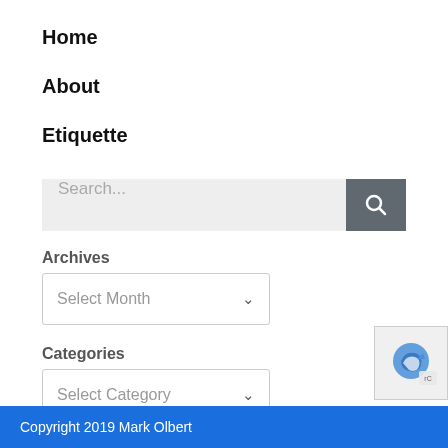Home
About
Etiquette
[Figure (screenshot): Search bar with text input field and dark search button with magnifying glass icon]
Archives
[Figure (screenshot): Dropdown selector showing 'Select Month' with chevron arrow]
Categories
[Figure (screenshot): Dropdown selector showing 'Select Category' with chevron arrow]
[Figure (logo): reCAPTCHA badge partially visible in bottom right corner]
Copyright 2019 Mark Olbert